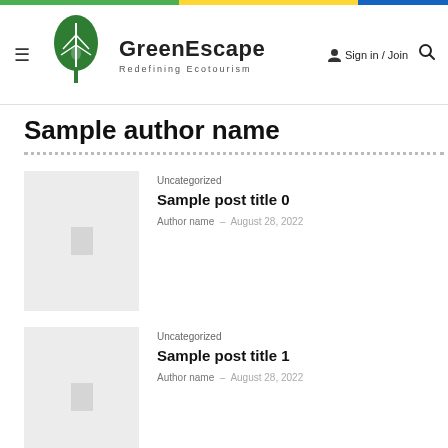GreenEscape — Redefining Ecotourism — Sign in / Join
Sample author name
Uncategorized — Sample post title 0 — Author name – August 28, 2022
Uncategorized — Sample post title 1 — Author name – August 28, 2022
Uncategorized